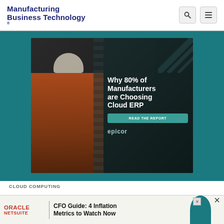Manufacturing Business Technology
[Figure (illustration): Epicor advertisement showing a female manufacturing worker in orange high-visibility jacket and white hard hat holding a tablet, with text 'Why 80% of Manufacturers are Choosing Cloud ERP' and a green 'READ THE REPORT' button and EPICOR logo, set against a teal/dark background.]
CLOUD COMPUTING
How...
[Figure (illustration): Oracle NetSuite banner advertisement: CFO Guide: 4 Inflation Metrics to Watch Now, with teal decorative shape on right and close button.]